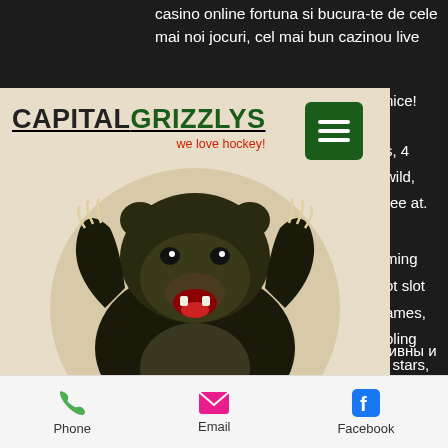casino online fortuna si bucura-te de cele mai noi jocuri, cel mai bun cazinou live ... nice! ...s, 4 ...wild, ...ree at. ...ming ...ot slot ...ames, ...bling ...stars, ...n. ...ип ...их
[Figure (logo): Capital Grizzlys hockey logo with grizzly bear mascot. Logo text reads CAPITAL GRIZZLYS with tagline 'we love hockey!' on a tan/beige background card.]
азартных онлайн игр  играть на гривны и бесплатно в украине
Bonus We Update New No Deposit Online Daily Competition is rife between the many
Phone   Email   Facebook